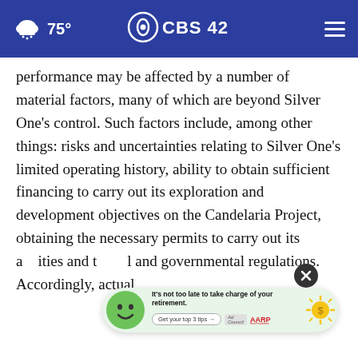75° CBS42 (navigation bar with weather icon and hamburger menu)
performance may be affected by a number of material factors, many of which are beyond Silver One's control. Such factors include, among other things: risks and uncertainties relating to Silver One's limited operating history, ability to obtain sufficient financing to carry out its exploration and development objectives on the Candelaria Project, obtaining the necessary permits to carry out its activities and t[he necessary federal, provincial, local and governmental regulations. Accordingly, actual
[Figure (infographic): AARP Ad Council advertisement banner: 'It's not too late to take charge of your retirement. Get your top 3 tips →' with a cartoon face mascot and a coin/sun graphic. Overlaid on article text.]